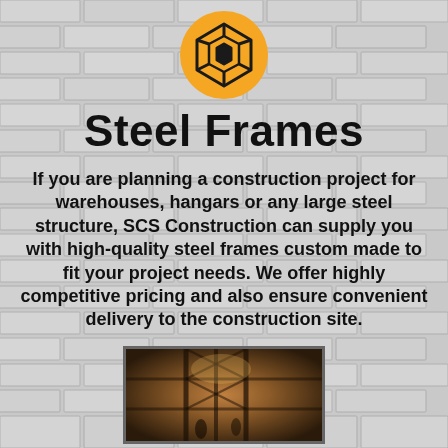[Figure (logo): Orange circle with a dark geometric cube/box wireframe icon in the center]
Steel Frames
If you are planning a construction project for warehouses, hangars or any large steel structure, SCS Construction can supply you with high-quality steel frames custom made to fit your project needs. We offer highly competitive pricing and also ensure convenient delivery to the construction site.
[Figure (photo): Dark interior photo of a large steel frame structure, showing diagonal and vertical steel beams with warm overhead lighting, figures visible in the foreground]